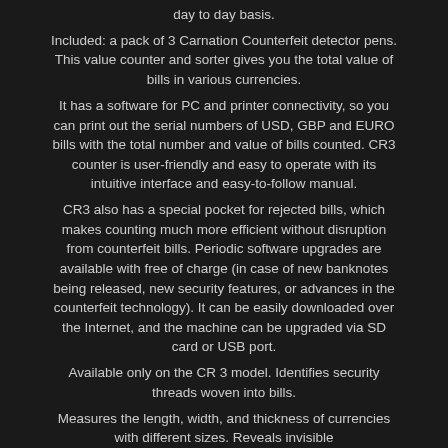day to day basis.
Included: a pack of 3 Carnation Counterfeit detector pens. This value counter and sorter gives you the total value of bills in various currencies.
It has a software for PC and printer connectivity, so you can print out the serial numbers of USD, GBP and EURO bills with the total number and value of bills counted. CR3 counter is user-friendly and easy to operate with its intuitive interface and easy-to-follow manual.
CR3 also has a special pocket for rejected bills, which makes counting much more efficient without disruption from counterfeit bills. Periodic software upgrades are available with free of charge (in case of new banknotes being released, new security features, or advances in the counterfeit technology). It can be easily downloaded over the Internet, and the machine can be upgraded via SD card or USB port.
Available only on the CR 3 model. Identifies security threads woven into bills.
Measures the length, width, and thickness of currencies with different sizes. Reveals invisible